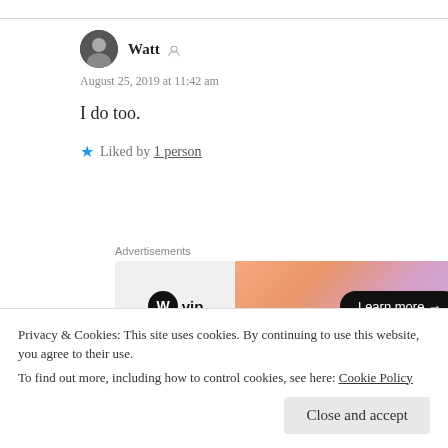Watt
August 25, 2019 at 11:42 am
I do too.
Liked by 1 person
[Figure (screenshot): WordPress VIP advertisement banner with gradient orange-pink background and 'Learn more →' button]
Privacy & Cookies: This site uses cookies. By continuing to use this website, you agree to their use. To find out more, including how to control cookies, see here: Cookie Policy
Close and accept